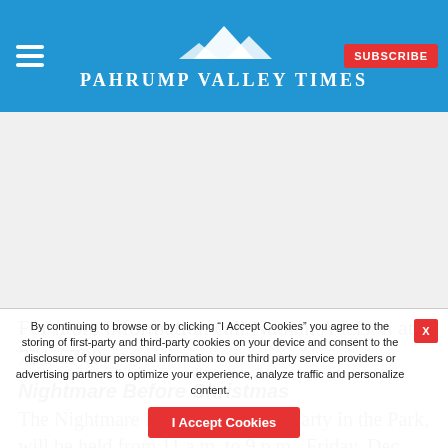Pahrump Valley Times
For more information call Nathan Adelson at 751-6700.
Nightmare Before Christmas
The Nightmare Before Christmas Party in the Park, will be held from 11 a.m. to 9 p.m., Friday, Dec. 13th at Petrack Park. The event
By continuing to browse or by clicking “I Accept Cookies” you agree to the storing of first-party and third-party cookies on your device and consent to the disclosure of your personal information to our third party service providers or advertising partners to optimize your experience, analyze traffic and personalize content.
I Accept Cookies